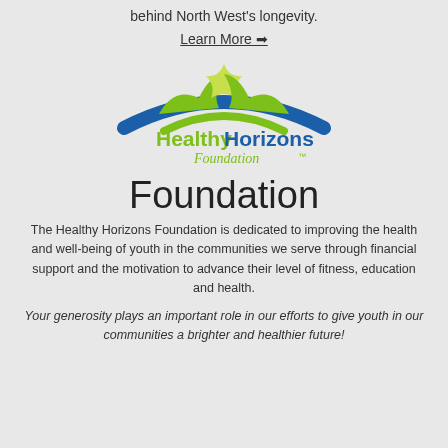behind North West's longevity.
Learn More ➔
[Figure (logo): Healthy Horizons Foundation logo with green and blue swoosh design and stylized figure]
Foundation
The Healthy Horizons Foundation is dedicated to improving the health and well-being of youth in the communities we serve through financial support and the motivation to advance their level of fitness, education and health.
Your generosity plays an important role in our efforts to give youth in our communities a brighter and healthier future!